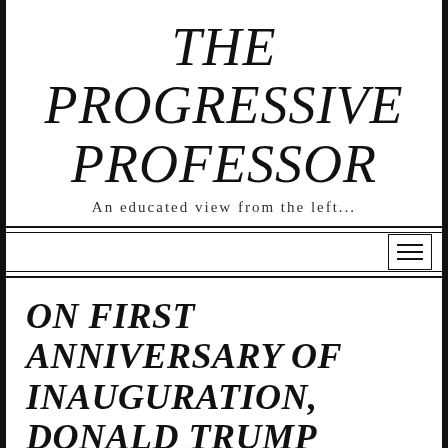THE PROGRESSIVE PROFESSOR
An educated view from the left...
ON FIRST ANNIVERSARY OF INAUGURATION, DONALD TRUMP CAUSES SHUTDOWN